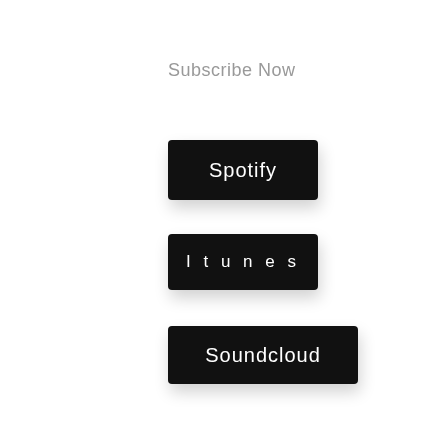Subscribe Now
Spotify
Itunes
Soundcloud